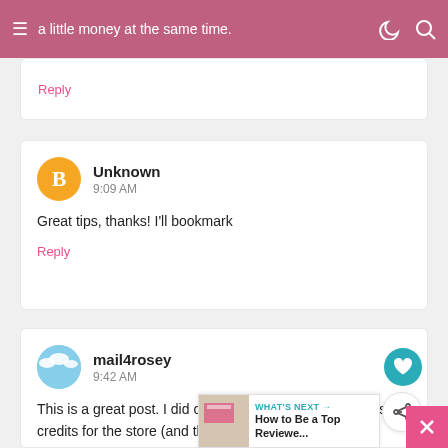a little money at the same time.
Reply
Unknown
9:09 AM
Great tips, thanks! I'll bookmark
Reply
mail4rosey
9:42 AM
This is a great post. I did one affiliate link, and it still gets me credits for the store (and that was over 6 mos. ago). :)
Reply